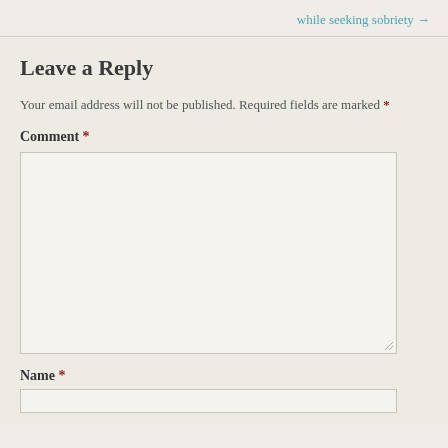while seeking sobriety →
Leave a Reply
Your email address will not be published. Required fields are marked *
Comment *
Name *